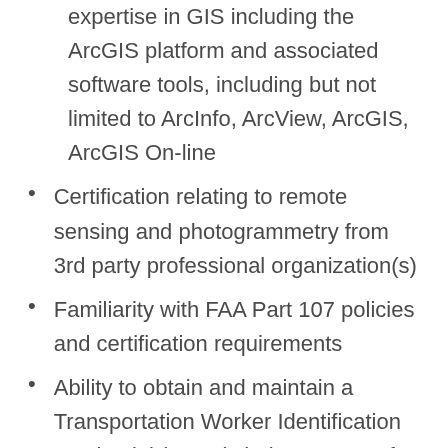expertise in GIS including the ArcGIS platform and associated software tools, including but not limited to ArcInfo, ArcView, ArcGIS, ArcGIS On-line
Certification relating to remote sensing and photogrammetry from 3rd party professional organization(s)
Familiarity with FAA Part 107 policies and certification requirements
Ability to obtain and maintain a Transportation Worker Identification Credential (TWIC) during course of employment
Valid driver's license